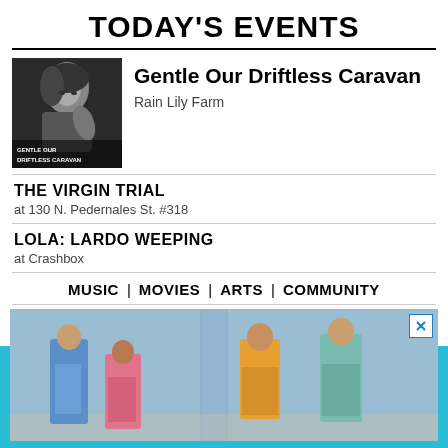TODAY'S EVENTS
[Figure (photo): Black and white promotional photo for 'Gentle Our Driftless Caravan' showing a woman with text overlay]
Gentle Our Driftless Caravan
Rain Lily Farm
THE VIRGIN TRIAL
at 130 N. Pedernales St. #318
LOLA: LARDO WEEPING
at Crashbox
MUSIC  |  MOVIES  |  ARTS  |  COMMUNITY
[Figure (photo): Advertisement photo showing four men in colorful suits standing in front of a column against a blue sky]
Information is power. Support the free press, so we can support Austin.
SUPPORT THE CHRONICLE →